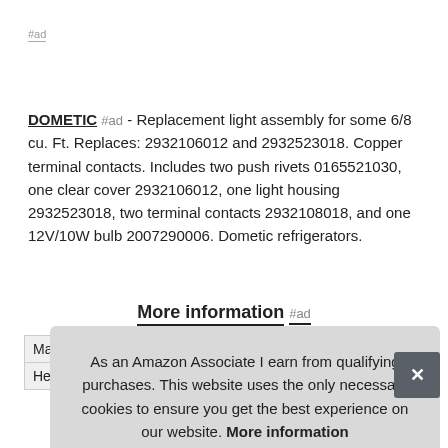#ad
DOMETIC #ad - Replacement light assembly for some 6/8 cu. Ft. Replaces: 2932106012 and 2932523018. Copper terminal contacts. Includes two push rivets 0165521030, one clear cover 2932106012, one light housing 2932523018, two terminal contacts 2932108018, and one 12V/10W bulb 2007290006. Dometic refrigerators.
More information #ad
| Ma |  |
| Height | 8 Inches |
As an Amazon Associate I earn from qualifying purchases. This website uses the only necessary cookies to ensure you get the best experience on our website. More information